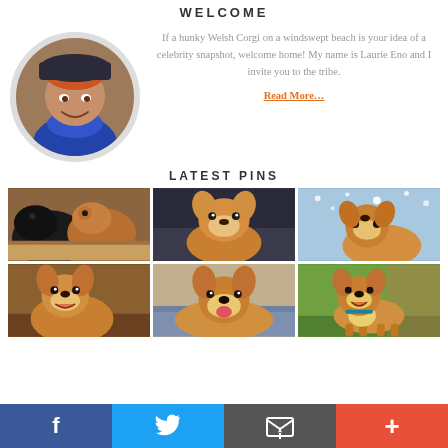WELCOME
[Figure (photo): Circular profile photo of Laurie Eno, a woman wearing a dark hat and blue scarf]
If a hunky Welsh Corgi on a windswept beach is your idea of a celebrity snapshot, welcome home! My name is Laurie Eno and I invite you to the tribe.
Read More…
LATEST PINS
[Figure (photo): Two dogs - a black dog and a brown Corgi resting their heads]
[Figure (photo): A Corgi puppy sitting in a car seat looking at camera]
[Figure (photo): A white and tan Corgi looking up in snowy weather]
[Figure (photo): A tan Corgi sitting indoors looking at camera]
[Figure (photo): A Corgi puppy lying on a blanket with tongue out]
[Figure (photo): A smiling Corgi standing on grass outdoors]